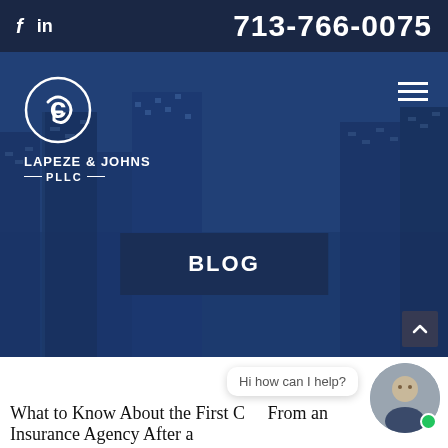f  in  713-766-0075
[Figure (screenshot): Lapeze & Johns PLLC law firm website hero section with city skyline background, firm logo, hamburger menu, and BLOG banner]
Hi how can I help?
What to Know About the First Call From an Insurance Agency After a